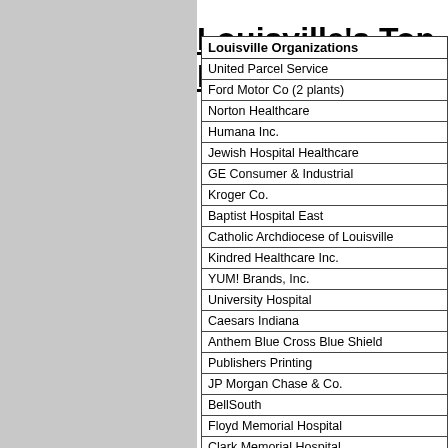Louisville's Top Employers
| Louisville Organizations |
| --- |
| United Parcel Service |
| Ford Motor Co (2 plants) |
| Norton Healthcare |
| Humana Inc. |
| Jewish Hospital Healthcare |
| GE Consumer & Industrial |
| Kroger Co. |
| Baptist Hospital East |
| Catholic Archdiocese of Louisville |
| Kindred Healthcare Inc. |
| YUM! Brands, Inc. |
| University Hospital |
| Caesars Indiana |
| Anthem Blue Cross Blue Shield |
| Publishers Printing |
| JP Morgan Chase & Co. |
| BellSouth |
| Floyd Memorial Hospital |
| Clark Memorial Hospital |